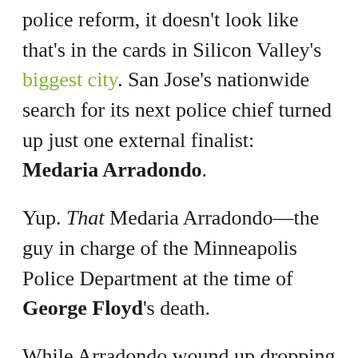police reform, it doesn't look like that's in the cards in Silicon Valley's biggest city. San Jose's nationwide search for its next police chief turned up just one external finalist: Medaria Arradondo.
Yup. That Medaria Arradondo—the guy in charge of the Minneapolis Police Department at the time of George Floyd's death.
While Arradondo wound up dropping out of contention at the 11th hour, the fact that he was even an option rubbed civil rights leaders the wrong way.
Raj Jayadev, founder of Silicon Valley De-Bug, said Arradondo landing on the short list showed just how "mind-numbingly out of touch" San Jose is "with the